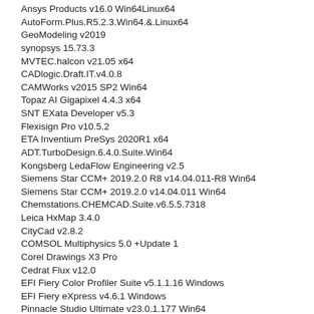Ansys Products v16.0 Win64Linux64
AutoForm.Plus.R5.2.3.Win64.&.Linux64
GeoModeling v2019
synopsys 15.73.3
MVTEC.halcon v21.05 x64
CADlogic.Draft.IT.v4.0.8
CAMWorks v2015 SP2 Win64
Topaz AI Gigapixel 4.4.3 x64
SNT EXata Developer v5.3
Flexisign Pro v10.5.2
ETA Inventium PreSys 2020R1 x64
ADT.TurboDesign.6.4.0.Suite.Win64
Kongsberg LedaFlow Engineering v2.5
Siemens Star CCM+ 2019.2.0 R8 v14.04.011-R8 Win64
Siemens Star CCM+ 2019.2.0 v14.04.011 Win64
Chemstations.CHEMCAD.Suite.v6.5.5.7318
Leica HxMap 3.4.0
CityCad v2.8.2
COMSOL Multiphysics 5.0 +Update 1
Corel Drawings X3 Pro
Cedrat Flux v12.0
EFI Fiery Color Profiler Suite v5.1.1.16 Windows
EFI Fiery eXpress v4.6.1 Windows
Pinnacle Studio Ultimate v23.0.1.177 Win64
Vero Edgecam 2020.0.1932 Win64